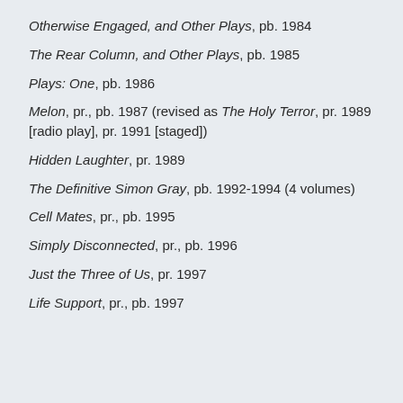Otherwise Engaged, and Other Plays, pb. 1984
The Rear Column, and Other Plays, pb. 1985
Plays: One, pb. 1986
Melon, pr., pb. 1987 (revised as The Holy Terror, pr. 1989 [radio play], pr. 1991 [staged])
Hidden Laughter, pr. 1989
The Definitive Simon Gray, pb. 1992-1994 (4 volumes)
Cell Mates, pr., pb. 1995
Simply Disconnected, pr., pb. 1996
Just the Three of Us, pr. 1997
Life Support, pr., pb. 1997